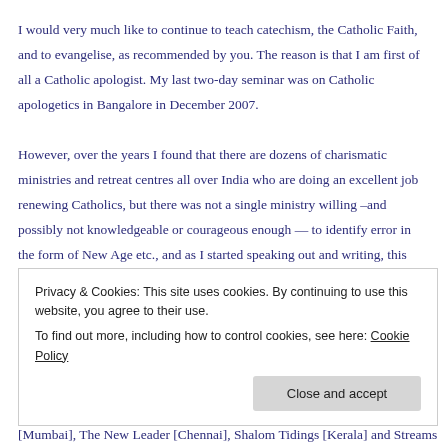I would very much like to continue to teach catechism, the Catholic Faith, and to evangelise, as recommended by you. The reason is that I am first of all a Catholic apologist. My last two-day seminar was on Catholic apologetics in Bangalore in December 2007.

However, over the years I found that there are dozens of charismatic ministries and retreat centres all over India who are doing an excellent job renewing Catholics, but there was not a single ministry willing –and possibly not knowledgeable or courageous enough — to identify error in the form of New Age etc., and as I started speaking out and writing, this ministry developed.
Privacy & Cookies: This site uses cookies. By continuing to use this website, you agree to their use.
To find out more, including how to control cookies, see here: Cookie Policy
[Mumbai], The New Leader [Chennai], Shalom Tidings [Kerala] and Streams